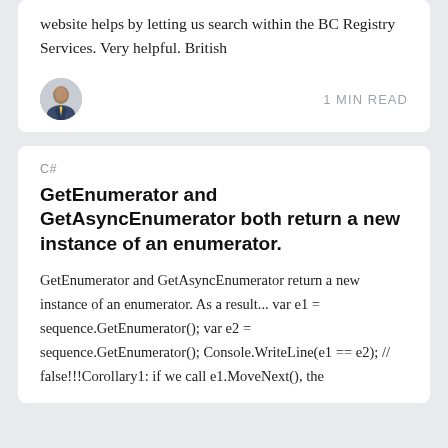website helps by letting us search within the BC Registry Services. Very helpful. British
[Figure (photo): Small circular avatar photo of a man in a suit]
1 MIN READ
C#
GetEnumerator and GetAsyncEnumerator both return a new instance of an enumerator.
GetEnumerator and GetAsyncEnumerator return a new instance of an enumerator. As a result... var e1 = sequence.GetEnumerator(); var e2 = sequence.GetEnumerator(); Console.WriteLine(e1 == e2); // false!!!Corollary1: if we call e1.MoveNext(), the